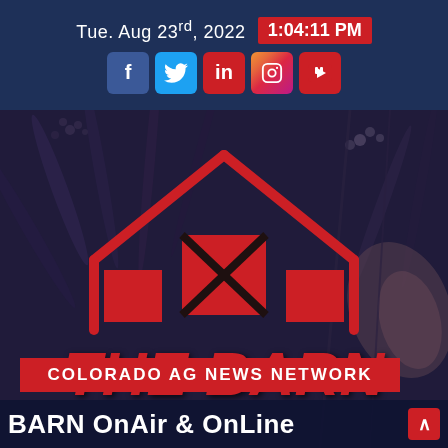Tue. Aug 23rd, 2022  1:04:11 PM
[Figure (logo): The Barn Colorado Ag News Network logo with red barn outline, barn door with X pattern, on a dark agricultural background with grain/plant imagery]
THE BARN
COLORADO AG NEWS NETWORK
BARN OnAir & OnLine